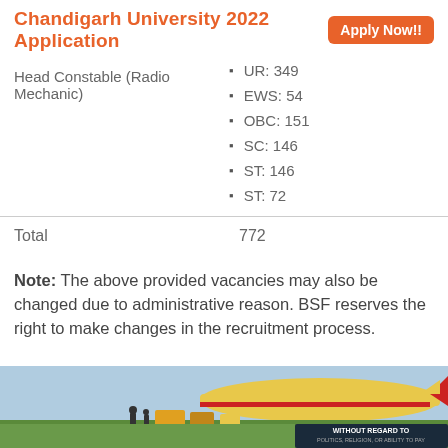Chandigarh University 2022 Application   Apply Now!!
| Post | Category/Count |
| --- | --- |
| Head Constable (Radio Mechanic) | UR: 349 | EWS: 54 | OBC: 151 | SC: 146 | ST: 146 | ST: 72 |
| Total | 772 |
Note: The above provided vacancies may also be changed due to administrative reason. BSF reserves the right to make changes in the recruitment process.
[Figure (photo): Advertisement banner showing cargo being loaded onto an airplane, with text 'WITHOUT REGARD TO POLITICS, RELIGION, OR ABILITY TO PAY']